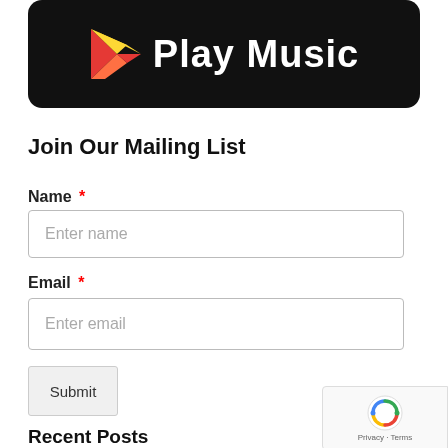[Figure (logo): Google Play Music logo banner on black rounded background with orange/yellow/red triangle logo and white bold text 'Play Music']
Join Our Mailing List
Name *
Enter name
Email *
Enter email
Submit
Recent Posts
New Short Term rental tax 20.4%, what does this mean for real
[Figure (logo): Google reCAPTCHA badge with reCAPTCHA logo and 'Privacy · Terms' text]